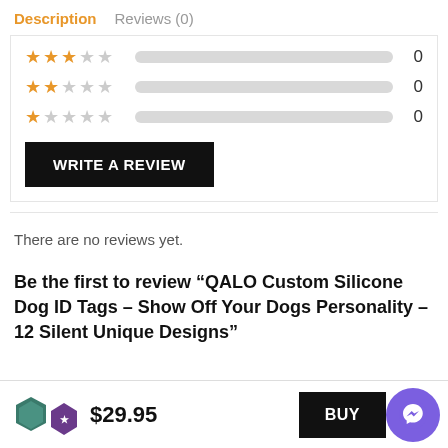Description   Reviews (0)
[Figure (other): Star rating bars showing 3-star row (0), 2-star row (0), 1-star row (0) with empty progress bars and counts]
WRITE A REVIEW
There are no reviews yet.
Be the first to review “QALO Custom Silicone Dog ID Tags – Show Off Your Dogs Personality – 12 Silent Unique Designs”
$29.95  BUY